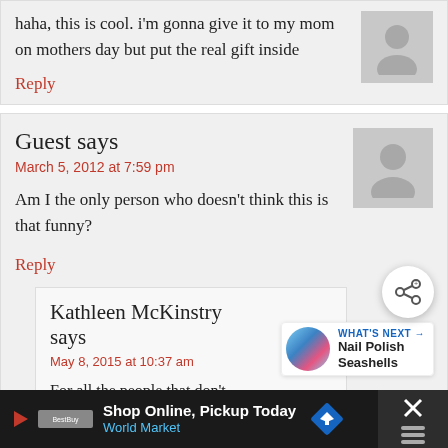haha, this is cool. i'm gonna give it to my mom on mothers day but put the real gift inside
Reply
Guest says
March 5, 2012 at 7:59 pm
Am I the only person who doesn't think this is that funny?
Reply
Kathleen McKinstry says
May 8, 2015 at 10:37 am
For all the people that don't think this is funny – add some humor to your life. You must be a
[Figure (other): Share button overlay (circular white button with share icon)]
[Figure (other): What's Next widget showing Nail Polish Seashells with thumbnail]
[Figure (other): Advertisement bar: Shop Online, Pickup Today - World Market]